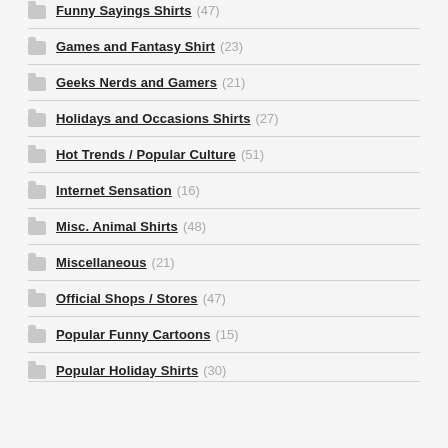Funny Sayings Shirts (47)
Games and Fantasy Shirt (23)
Geeks Nerds and Gamers (21)
Holidays and Occasions Shirts (27)
Hot Trends / Popular Culture (51)
Internet Sensation (16)
Misc. Animal Shirts (48)
Miscellaneous (21)
Official Shops / Stores (47)
Popular Funny Cartoons (15)
Popular Holiday Shirts (30)